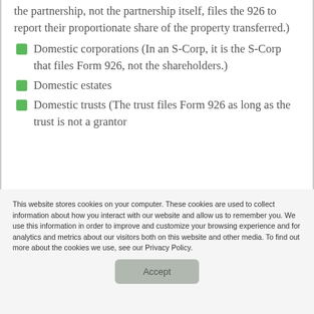the partnership, not the partnership itself, files the 926 to report their proportionate share of the property transferred.)
Domestic corporations (In an S-Corp, it is the S-Corp that files Form 926, not the shareholders.)
Domestic estates
Domestic trusts (The trust files Form 926 as long as the trust is not a grantor
This website stores cookies on your computer. These cookies are used to collect information about how you interact with our website and allow us to remember you. We use this information in order to improve and customize your browsing experience and for analytics and metrics about our visitors both on this website and other media. To find out more about the cookies we use, see our Privacy Policy.